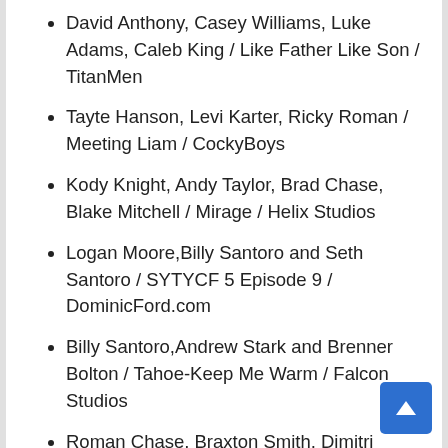David Anthony, Casey Williams, Luke Adams, Caleb King / Like Father Like Son / TitanMen
Tayte Hanson, Levi Karter, Ricky Roman / Meeting Liam / CockyBoys
Kody Knight, Andy Taylor, Brad Chase, Blake Mitchell / Mirage / Helix Studios
Logan Moore,Billy Santoro and Seth Santoro / SYTYCF 5 Episode 9 / DominicFord.com
Billy Santoro,Andrew Stark and Brenner Bolton / Tahoe-Keep Me Warm / Falcon Studios
Roman Chase, Braxton Smith, Dimitri Kane, Damian Ximer, Zaq Wolf, Mickey O'Brian / The Cum Guzzlers Club / Channel 1 Releasing